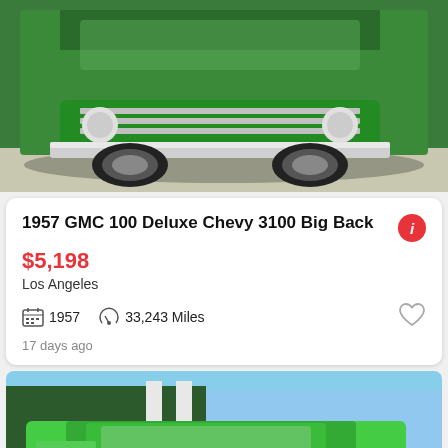[Figure (photo): Front view of a green 1957 GMC truck with chrome bumper and whitewall tires, top portion visible]
1957 GMC 100 Deluxe Chevy 3100 Big Back
$5,198
Los Angeles
1957   33,243 Miles
17 days ago
[Figure (photo): Front 3/4 view of a bright green 1957 GMC truck with chrome grille and bumper, parked outdoors with hedges in background. 'See photo >' button overlay in bottom right.]